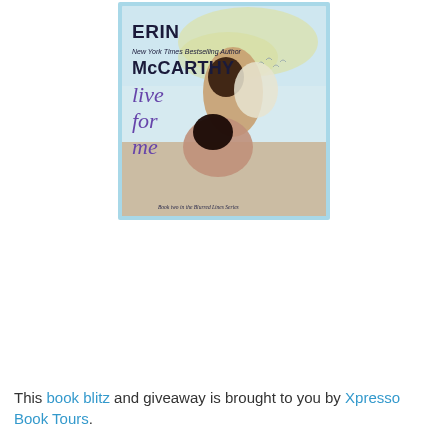[Figure (illustration): Book cover for 'Live for Me' by Erin McCarthy, New York Times Bestselling Author. Cover shows a couple about to kiss, with a beach/sky background in yellow and blue tones. Text reads 'Book two in the Blurred Lines Series' at the bottom.]
This book blitz and giveaway is brought to you by Xpresso Book Tours.